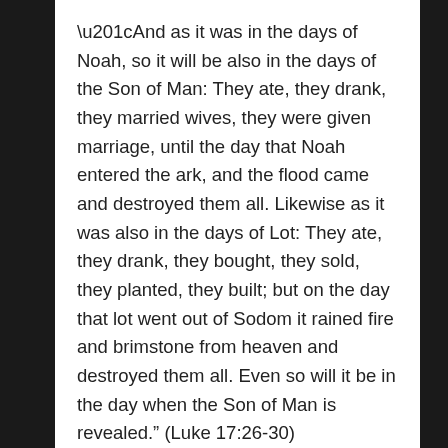“And as it was in the days of Noah, so it will be also in the days of the Son of Man: They ate, they drank, they married wives, they were given marriage, until the day that Noah entered the ark, and the flood came and destroyed them all. Likewise as it was also in the days of Lot: They ate, they drank, they bought, they sold, they planted, they built; but on the day that lot went out of Sodom it rained fire and brimstone from heaven and destroyed them all. Even so will it be in the day when the Son of Man is revealed.” (Luke 17:26-30)
The people then were living as if everything would go on just like it always had, but the Flood changed this thinking real quickly. It was not as if they did not have any warnings, there were those